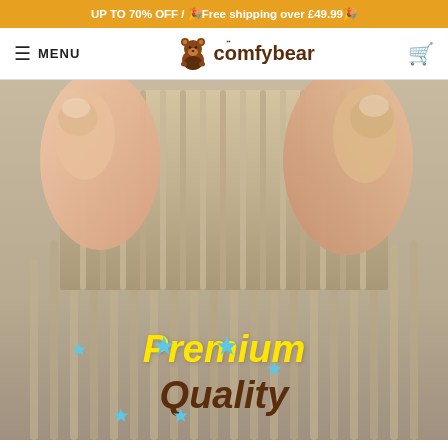UP TO 70% OFF / 🛒Free shipping over £49.99🛒
[Figure (logo): Comfybear logo with hamburger menu icon, MENU text, bear mascot logo, and shopping cart icon]
[Figure (photo): Close-up photo of fingers pinching a ribbed/corrugated fabric or material, with 'Premium Quality' text overlay with sparkle decorations at the bottom of the image]